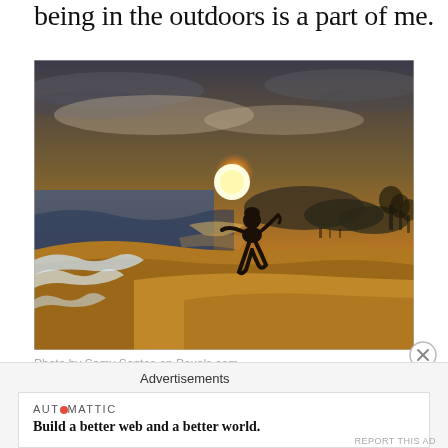being in the outdoors is a part of me.
[Figure (photo): Child running along a beach at sunset, silhouetted against golden sky and ocean waves]
Photo by Samy Santos on Pexels.com
Advertisements
[Figure (other): Automattic advertisement: Build a better web and a better world.]